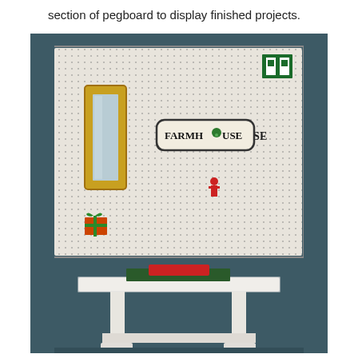section of pegboard to display finished projects.
[Figure (photo): A room with a dark teal/grey wall. A large white pegboard is mounted on the wall displaying a gold-framed mirror on the left, a 'FARMHOUSE' sign in the center, a small figurine in the middle, a green and red present at the bottom left, and a green/white flag or card at the top right. In front of the wall is a white table with a green mat and red tray on top.]